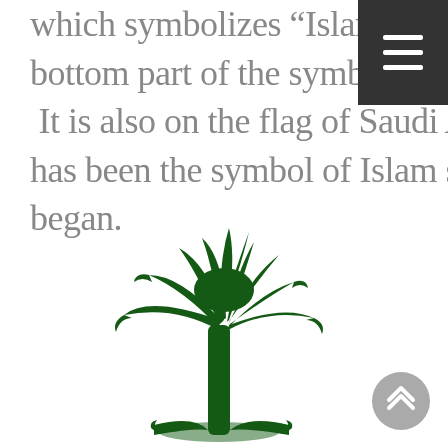which symbolizes “Islam.”  It today is the bottom part of the symbol of Saudi Arabia.  It is also on the flag of Saudi Arabia.  It has been the symbol of Islam since it began.
[Figure (illustration): Green palm tree illustration, part of the Saudi Arabia coat of arms symbol, showing a date palm with fronds over two crossed swords at the bottom]